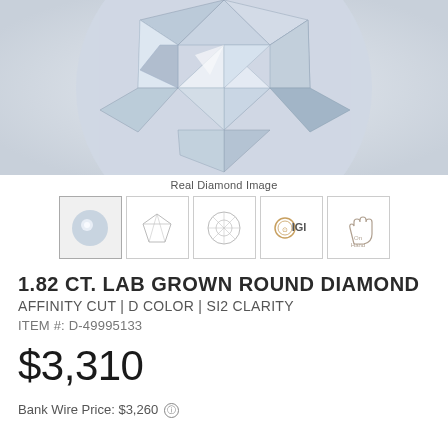[Figure (photo): Close-up photograph of a round brilliant cut lab grown diamond viewed from above, showing facets and sparkle on a light gray background]
Real Diamond Image
[Figure (illustration): Row of five thumbnail images: actual diamond photo, diamond side-view outline, diamond top-view outline, IGI certification logo, and On Hand hand logo]
1.82 CT. LAB GROWN ROUND DIAMOND
AFFINITY CUT | D COLOR | SI2 CLARITY
ITEM #: D-49995133
$3,310
Bank Wire Price: $3,260